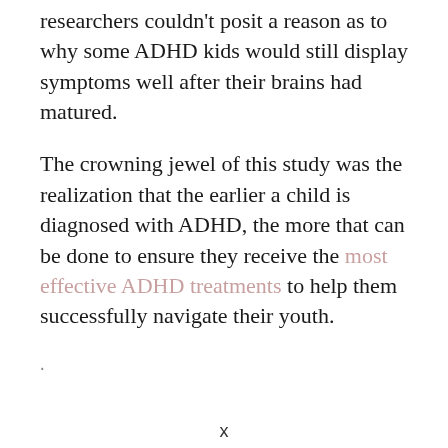researchers couldn't posit a reason as to why some ADHD kids would still display symptoms well after their brains had matured.
The crowning jewel of this study was the realization that the earlier a child is diagnosed with ADHD, the more that can be done to ensure they receive the most effective ADHD treatments to help them successfully navigate their youth.
.
x